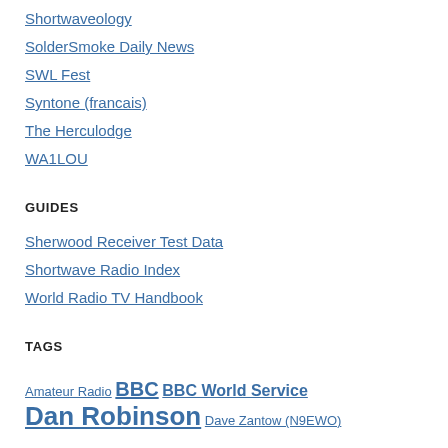Shortwaveology
SolderSmoke Daily News
SWL Fest
Syntone (francais)
The Herculodge
WA1LOU
GUIDES
Sherwood Receiver Test Data
Shortwave Radio Index
World Radio TV Handbook
TAGS
Amateur Radio BBC BBC World Service Dan Robinson Dave Zantow (N9EWO)